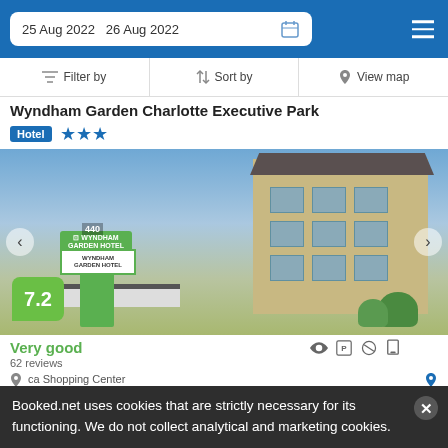25 Aug 2022  26 Aug 2022
Filter by  Sort by  View map
Wyndham Garden Charlotte Executive Park
Hotel ★★★
[Figure (photo): Exterior photo of Wyndham Garden Hotel Charlotte Executive Park showing the building facade, green canopy, and signage with score badge 7.2]
Very good
62 reviews
Booked.net uses cookies that are strictly necessary for its functioning. We do not collect analytical and marketing cookies.
ca Shopping Center